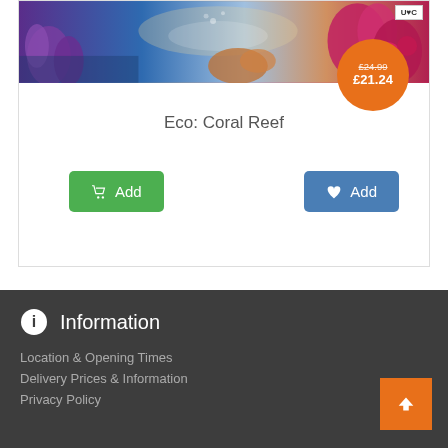[Figure (photo): Coral reef aquarium background image with colorful purple, orange, red corals and sea creatures]
[Figure (infographic): Orange circular price badge showing strikethrough price £24.99 and sale price £21.24]
Eco: Coral Reef
Add (cart button)
Add (wishlist button)
Information
Location & Opening Times
Delivery Prices & Information
Privacy Policy